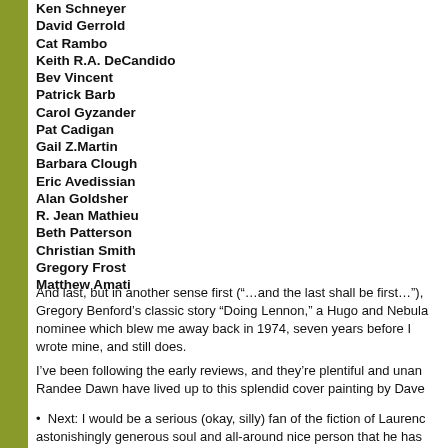Ken Schneyer
David Gerrold
Cat Rambo
Keith R.A. DeCandido
Bev Vincent
Patrick Barb
Carol Gyzander
Pat Cadigan
Gail Z.Martin
Barbara Clough
Eric Avedissian
Alan Goldsher
R. Jean Mathieu
Beth Patterson
Christian Smith
Gregory Frost
Matthew Amati
And last, but in another sense first (“…and the last shall be first…”), Gregory Benford’s classic story “Doing Lennon,” a Hugo and Nebula nominee which blew me away back in 1974, seven years before I wrote mine, and still does.
I’ve been following the early reviews, and they’re plentiful and unan Randee Dawn have lived up to this splendid cover painting by Dave
•  Next: I would be a serious (okay, silly) fan of the fiction of Laurenc astonishingly generous soul and all-around nice person that he has his greatest characters, Bert The Shirt D’Ambrosia, for cameo appe